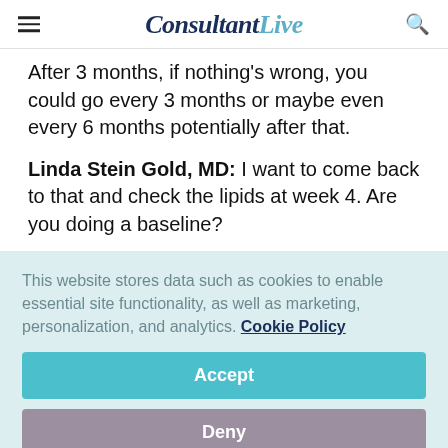ConsultantLive
After 3 months, if nothing's wrong, you could go every 3 months or maybe even every 6 months potentially after that.
Linda Stein Gold, MD: I want to come back to that and check the lipids at week 4. Are you doing a baseline?
This website stores data such as cookies to enable essential site functionality, as well as marketing, personalization, and analytics. Cookie Policy
Accept
Deny